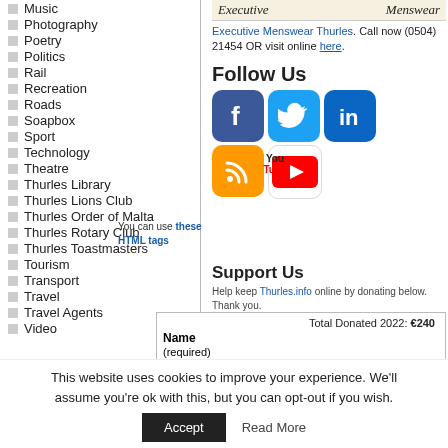Music
Photography
Poetry
Politics
Rail
Recreation
Roads
Soapbox
Sport
Technology
Theatre
Thurles Library
Thurles Lions Club
Thurles Order of Malta
Thurles Rotary Club
Thurles Toastmasters
Tourism
Transport
Travel
Travel Agents
Video
[Figure (screenshot): Executive Menswear advertisement header with italic script logo]
Executive Menswear Thurles. Call now (0504) 21454 OR visit online here.
Follow Us
[Figure (infographic): Social media icons: Facebook, Twitter, LinkedIn, RSS feed, YouTube]
You can use these HTML tags
Support Us
Help keep Thurles.info online by donating below. Thank you.
| Total Donated 2022: | €240 |
| Name (required) | Donate |
This website uses cookies to improve your experience. We'll assume you're ok with this, but you can opt-out if you wish.
Accept    Read More